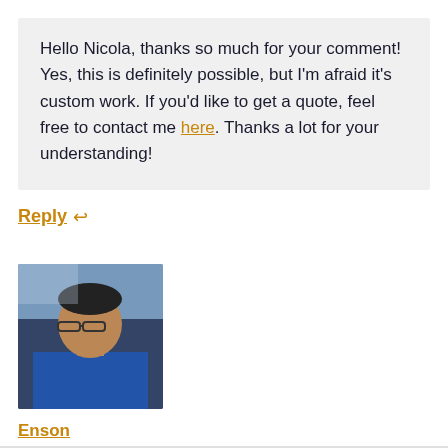Hello Nicola, thanks so much for your comment! Yes, this is definitely possible, but I'm afraid it's custom work. If you'd like to get a quote, feel free to contact me here. Thanks a lot for your understanding!
Reply ↩
[Figure (photo): Small square avatar photo of a man wearing glasses, appears to be outdoors or near a window, wearing a blue jacket]
Enson
February 2, 2021